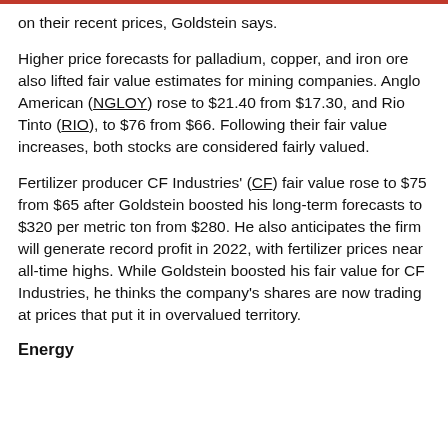on their recent prices, Goldstein says.
Higher price forecasts for palladium, copper, and iron ore also lifted fair value estimates for mining companies. Anglo American (NGLOY) rose to $21.40 from $17.30, and Rio Tinto (RIO), to $76 from $66. Following their fair value increases, both stocks are considered fairly valued.
Fertilizer producer CF Industries' (CF) fair value rose to $75 from $65 after Goldstein boosted his long-term forecasts to $320 per metric ton from $280. He also anticipates the firm will generate record profit in 2022, with fertilizer prices near all-time highs. While Goldstein boosted his fair value for CF Industries, he thinks the company's shares are now trading at prices that put it in overvalued territory.
Energy